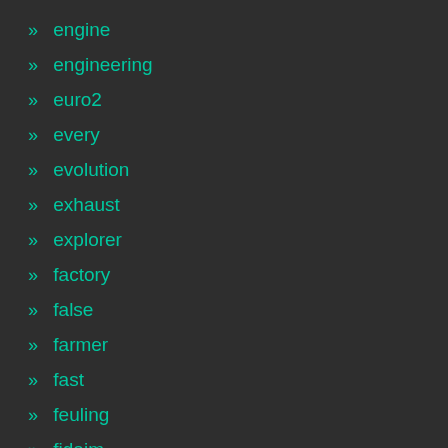» engine
» engineering
» euro2
» every
» evolution
» exhaust
» explorer
» factory
» false
» farmer
» fast
» feuling
» fidaim
» first